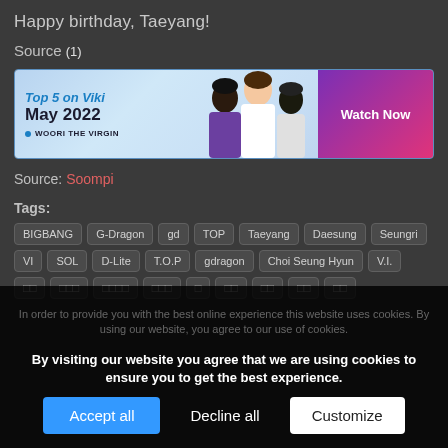Happy birthday, Taeyang!
Source (1)
[Figure (screenshot): Viki banner ad: Top 5 on Viki May 2022, featuring Woori the Virgin, with a Watch Now button]
Source: Soompi
Tags: BIGBANG  G-Dragon  gd  TOP  Taeyang  Daesung  Seungri  VI  SOL  D-Lite  T.O.P  gdragon  Choi Seung Hyun  VI  □□  □□□  □□□□  □□□  □  □□  □□  □□  □□
In order to provide you with the best online experience this website uses cookies. By using our website, you agree to our use of cookies.
By visiting our website you agree that we are using cookies to ensure you to get the best experience.